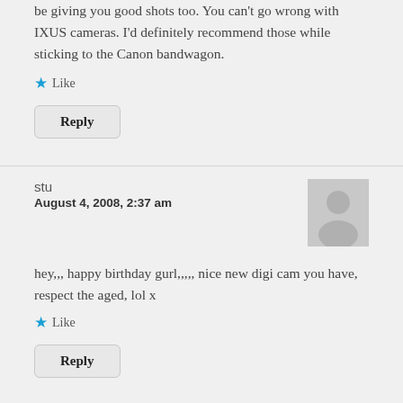be giving you good shots too. You can't go wrong with IXUS cameras. I'd definitely recommend those while sticking to the Canon bandwagon.
★ Like
Reply
stu
August 4, 2008, 2:37 am
hey,,, happy birthday gurl,,,,,  nice new digi cam you have, respect the aged, lol x
★ Like
Reply